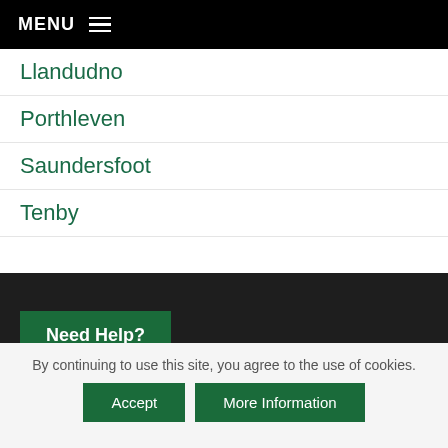MENU
Llandudno
Porthleven
Saundersfoot
Tenby
Need Help?
By continuing to use this site, you agree to the use of cookies.
Accept
More Information